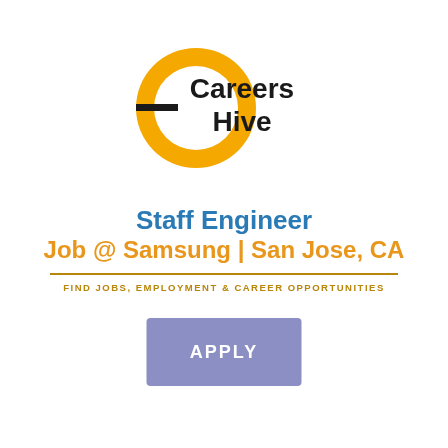[Figure (logo): Careers Hive logo: yellow/gold circle with a horizontal black dash on the left side, with 'Careers Hive' text in bold black to the right]
Staff Engineer
Job @ Samsung | San Jose, CA
FIND JOBS, EMPLOYMENT & CAREER OPPORTUNITIES
[Figure (other): Purple/lavender rectangular APPLY button]